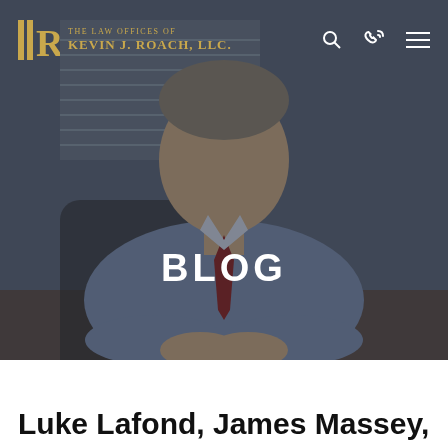The Law Offices of Kevin J. Roach, LLC
[Figure (photo): A man in a light blue dress shirt and red tie sitting at a desk with arms crossed, smiling. Office setting with window blinds in background. Dark overlay applied. Text 'BLOG' centered in bold white letters.]
Luke Lafond, James Massey,